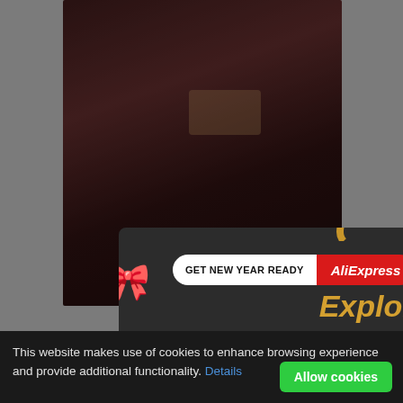[Figure (screenshot): Screenshot of a webpage with a popup modal advertisement from AliExpress saying 'GET NEW YEAR READY - Explore up to 70% off', overlaying a dark video/image of a person's arm with a watch. Background page shows broken image icons and partial text. A cookie consent banner appears at the bottom.]
GET NEW YEAR READY  AliExpress
Explore
up to 70% off
This website makes use of cookies to enhance browsing experience and provide additional functionality. Details
Allow cookies